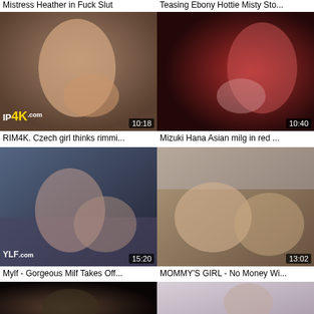Mistress Heather in Fuck Slut
Teasing Ebony Hottie Misty Sto...
[Figure (photo): Video thumbnail showing two people, IP4K watermark, duration 10:18]
RIM4K. Czech girl thinks rimmi...
[Figure (photo): Video thumbnail showing woman in red lingerie, duration 10:40]
Mizuki Hana Asian milg in red ...
[Figure (photo): Video thumbnail with YLF.com watermark, duration 15:20]
Mylf - Gorgeous Milf Takes Off...
[Figure (photo): Video thumbnail showing two women on bed, duration 13:02]
MOMMY'S GIRL - No Money Wi...
[Figure (photo): Partial video thumbnail, bottom of page, cropped]
[Figure (photo): Partial video thumbnail, bottom of page, cropped]